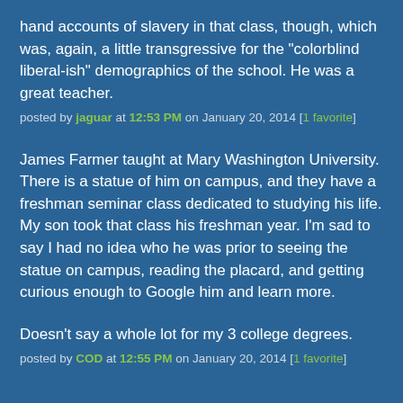hand accounts of slavery in that class, though, which was, again, a little transgressive for the "colorblind liberal-ish" demographics of the school. He was a great teacher.
posted by jaguar at 12:53 PM on January 20, 2014 [1 favorite]
James Farmer taught at Mary Washington University. There is a statue of him on campus, and they have a freshman seminar class dedicated to studying his life. My son took that class his freshman year. I'm sad to say I had no idea who he was prior to seeing the statue on campus, reading the placard, and getting curious enough to Google him and learn more.
Doesn't say a whole lot for my 3 college degrees.
posted by COD at 12:55 PM on January 20, 2014 [1 favorite]